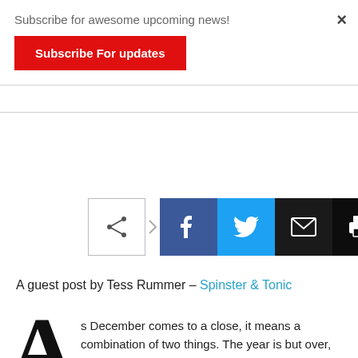Subscribe for awesome upcoming news!
Subscribe For updates
×
[Figure (infographic): Social share bar with share icon, Facebook, Twitter, email, and print buttons]
A guest post by Tess Rummer – Spinster & Tonic
As December comes to a close, it means a combination of two things. The year is but over, and you will sure as hell be watching, or have